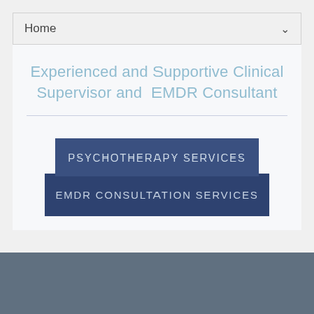Home
Experienced and Supportive Clinical Supervisor and EMDR Consultant
PSYCHOTHERAPY SERVICES
EMDR CONSULTATION SERVICES